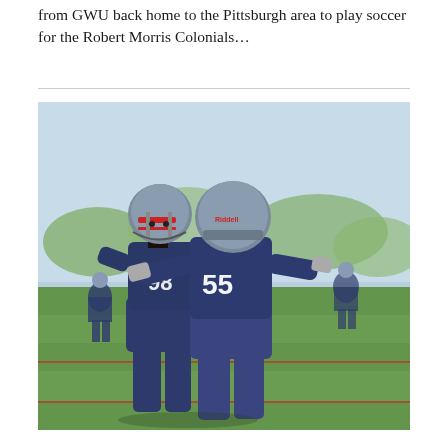from GWU back home to the Pittsburgh area to play soccer for the Robert Morris Colonials…
[Figure (photo): Two Robert Morris Colonials football players in navy blue uniforms and grey helmets engaged in a blocking drill during practice on a grass field. Player number 55 (facing away) is blocking player number 98 (facing forward). Additional players and a sunny outdoor field visible in background.]